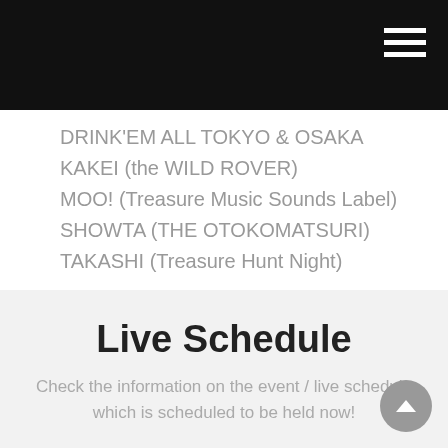DRINK'EM ALL TOKYO & OSAKA
KAKEI (the WILD ROVER)
MOO! (Treasure Music Sounds Label)
SHOWTA (THE OTOKOMATSURI)
TAKASHI (Treasure Hunt Night)
[FOOD] zako (ONE TRACK MIND)
Live Schedule
Check the information on the event / live schedule which is scheduled to be held now!